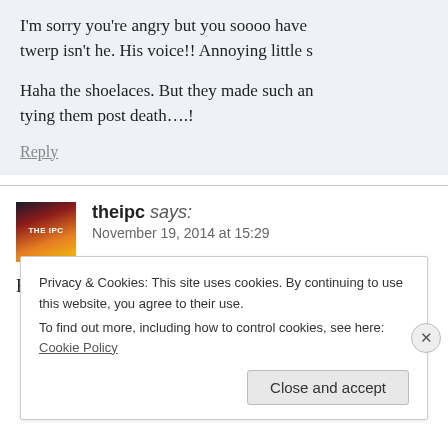I'm sorry you're angry but you soooo have twerp isn't he. His voice!! Annoying little s
Haha the shoelaces. But they made such an tying them post death….!
Reply
theipc says: November 19, 2014 at 15:29
Hey!!
Privacy & Cookies: This site uses cookies. By continuing to use this website, you agree to their use.
To find out more, including how to control cookies, see here: Cookie Policy